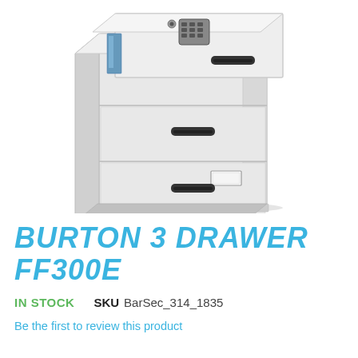[Figure (photo): Photo of a Burton 3 Drawer FF300E fireproof filing cabinet in light grey/white, shown at an angle. The top drawer is open revealing an electronic keypad lock. The cabinet has three drawers each with a dark handle. The bottom two drawers are closed with label holders visible.]
BURTON 3 DRAWER FF300E
IN STOCK   SKU  BarSec_314_1835
Be the first to review this product